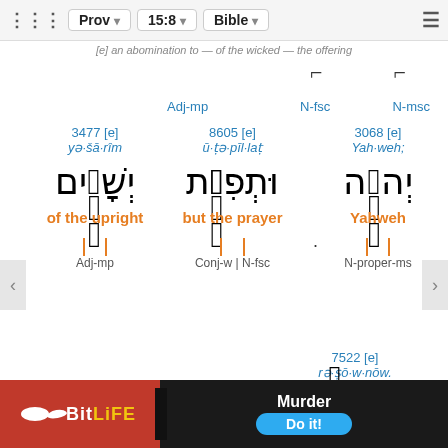Prov 15:8 | Bible
[e] an abomination to — of the wicked — the offering
N-fsc   Adj-mp   N-msc
3477 [e]   yə·šā·rîm   of the upright   Adj-mp
8605 [e]   ū·ṭə·pīl·laṭ   but the prayer   Conj-w | N-fsc
3068 [e]   Yah·weh;   Yahweh   N-proper-ms
7522 [e]   rə·ṣō·w·nōw.
[Figure (screenshot): BitLife advertisement banner showing 'Murder Do it!' promotion]